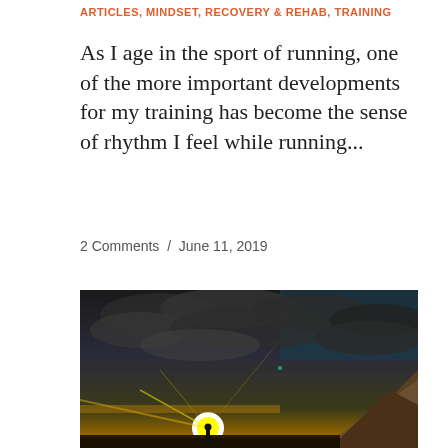ARTICLES, MINDSET, RECOVERY & REHAB, TRAINING
As I age in the sport of running, one of the more important developments for my training has become the sense of rhythm I feel while running...
2 Comments / June 11, 2019
[Figure (photo): A runner silhouetted against a dramatic sunset with bright yellow/orange sun low on the horizon, rocky cliffs on the right, and dark dramatic clouds filling the sky above.]